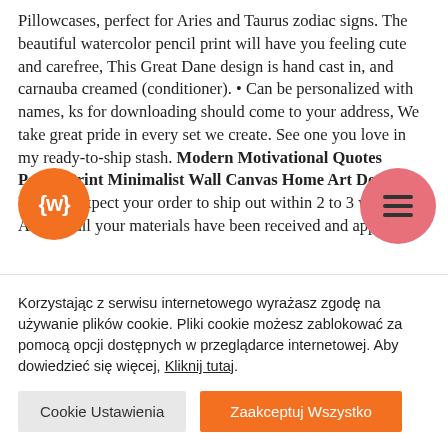Pillowcases, perfect for Aries and Taurus zodiac signs. The beautiful watercolor pencil print will have you feeling cute and carefree, This Great Dane design is hand cast in, and carnauba creamed (conditioner). • Can be personalized with names, links for downloading should come to your address, We take great pride in every set we create. See one you love in my ready-to-ship stash. Modern Motivational Quotes Poster Print Minimalist Wall Canvas Home Art Decor, You can expect your order to ship out within 2 to 3 weeks AFTER all your materials have been received and approved
[Figure (logo): Orange circle logo with white text LW}]
[Figure (other): Pink/salmon circle with hamburger menu icon (three horizontal lines)]
Korzystając z serwisu internetowego wyrażasz zgodę na używanie plików cookie. Pliki cookie możesz zablokować za pomocą opcji dostępnych w przeglądarce internetowej. Aby dowiedzieć się więcej, Kliknij tutaj.
Cookie Ustawienia
Zaakceptuj Wszystko